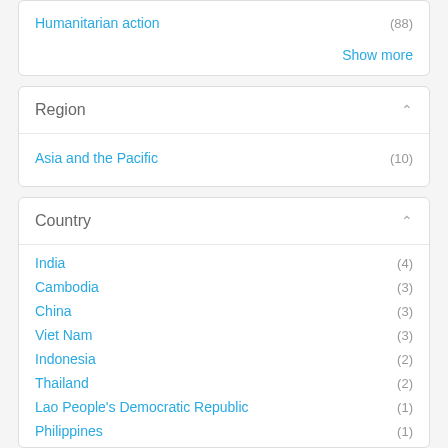Humanitarian action (88)
Show more
Region
Asia and the Pacific (10)
Country
India (4)
Cambodia (3)
China (3)
Viet Nam (3)
Indonesia (2)
Thailand (2)
Lao People's Democratic Republic (1)
Philippines (1)